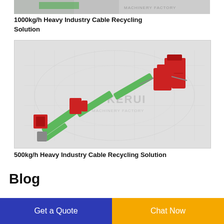[Figure (photo): Top strip showing partial machinery image with MACHINERY FACTORY watermark]
1000kg/h Heavy Industry Cable Recycling Solution
[Figure (illustration): 3D rendering of 500kg/h Heavy Industry Cable Recycling Solution machinery with red and green conveyor components on a world map background with KERUI MACHINERY FACTORY watermark]
500kg/h Heavy Industry Cable Recycling Solution
Blog
Get a Quote
Chat Now